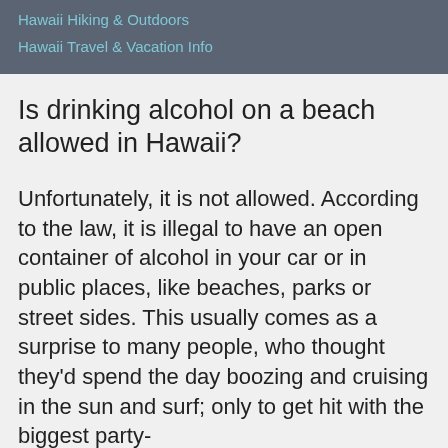Hawaii Hiking & Outdoors
Hawaii Travel & Vacation Info
Is drinking alcohol on a beach allowed in Hawaii?
Unfortunately, it is not allowed. According to the law, it is illegal to have an open container of alcohol in your car or in public places, like beaches, parks or street sides. This usually comes as a surprise to many people, who thought they'd spend the day boozing and cruising in the sun and surf; only to get hit with the biggest party-